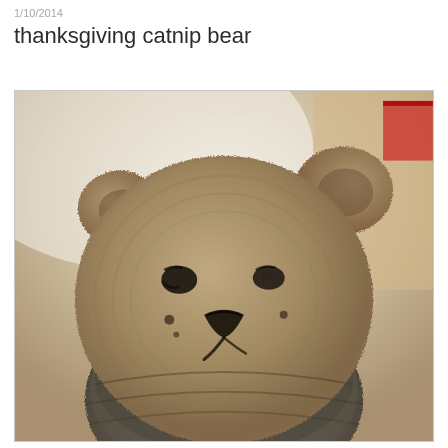1/10/2014
thanksgiving catnip bear
[Figure (photo): A knitted or crocheted teddy bear toy with a tan/brown face featuring embroidered black eyes and nose, small round ears, and a darker grey/charcoal knitted body, photographed close-up against a light blurred background.]